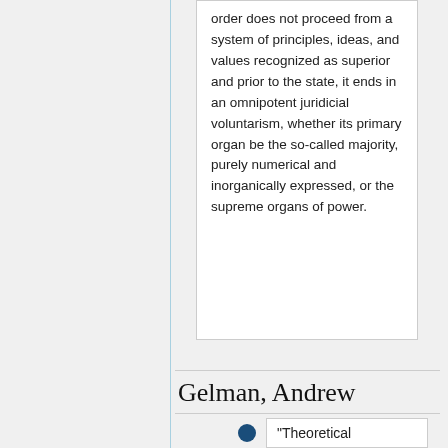order does not proceed from a system of principles, ideas, and values recognized as superior and prior to the state, it ends in an omnipotent juridicial voluntarism, whether its primary organ be the so-called majority, purely numerical and inorganically expressed, or the supreme organs of power.
Gelman, Andrew
"Theoretical